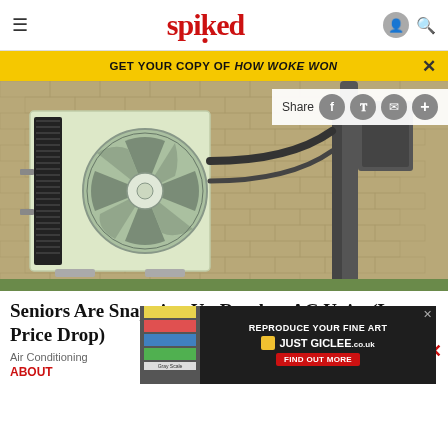spiked
GET YOUR COPY OF HOW WOKE WON
[Figure (photo): Outdoor ductless mini-split AC unit mounted on a brick wall, with refrigerant lines running along the wall. Share buttons (Facebook, Twitter, email, plus) visible in top-right overlay.]
Seniors Are Snapping Up Ductless AC Units (Latest Price Drop)
Air Conditioning
ABOUT
[Figure (screenshot): Advertisement overlay: 'REPRODUCE YOUR FINE ART — JUST GICLEE.co.uk — FIND OUT MORE' on dark background with colorful image samples on left.]